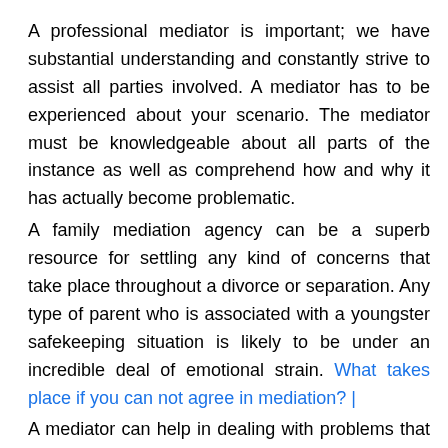A professional mediator is important; we have substantial understanding and constantly strive to assist all parties involved. A mediator has to be experienced about your scenario. The mediator must be knowledgeable about all parts of the instance as well as comprehend how and why it has actually become problematic.
A family mediation agency can be a superb resource for settling any kind of concerns that take place throughout a divorce or separation. Any type of parent who is associated with a youngster safekeeping situation is likely to be under an incredible deal of emotional strain. What takes place if you can not agree in mediation? |
A mediator can help in dealing with problems that emerge, allowing both celebrations to overcome their own individual conflicts while lowering the likelihood of confrontation in between moms and dads as well as kids